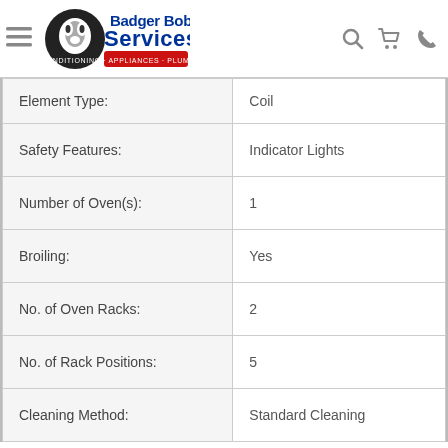Badger Bob's Services — Air Conditioning · Appliances · Plumbing · Electrical
| Feature | Value |
| --- | --- |
| Element Type: | Coil |
| Safety Features: | Indicator Lights |
| Number of Oven(s): | 1 |
| Broiling: | Yes |
| No. of Oven Racks: | 2 |
| No. of Rack Positions: | 5 |
| Cleaning Method: | Standard Cleaning |